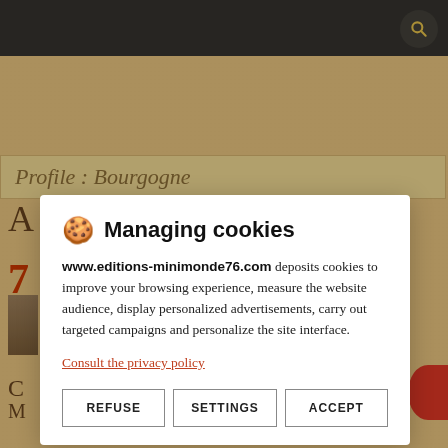[Figure (screenshot): Dark top navigation bar with search icon (magnifying glass) on a website]
Profile : Bourgogne
A... d...
7...
C... M...
🍪  Managing cookies
www.editions-minimonde76.com deposits cookies to improve your browsing experience, measure the website audience, display personalized advertisements, carry out targeted campaigns and personalize the site interface.
Consult the privacy policy
REFUSE
SETTINGS
ACCEPT